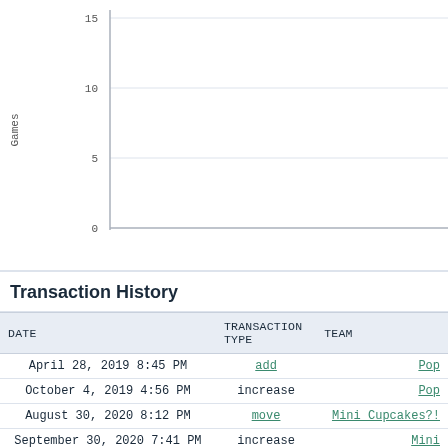[Figure (continuous-plot): Partial line/bar chart showing y-axis labeled 'Games' with values 0, 5, 10, 15. The chart content is mostly cut off, showing only the y-axis and gridlines.]
Transaction History
| DATE | TRANSACTION TYPE | TEAM |
| --- | --- | --- |
| April 28, 2019 8:45 PM | add | Pop |
| October 4, 2019 4:56 PM | increase | Pop |
| August 30, 2020 8:12 PM | move | Mini Cupcakes?! |
| September 30, 2020 7:41 PM | increase | Mini |
| November 15, 2020 12:39 AM | increase | Mini |
| January 31, 2021 10:00 AM | cut | Mini |
| March 15, 2021 10:29 PM | add |  |
| October 9, 2021 4:08 AM | increase |  |